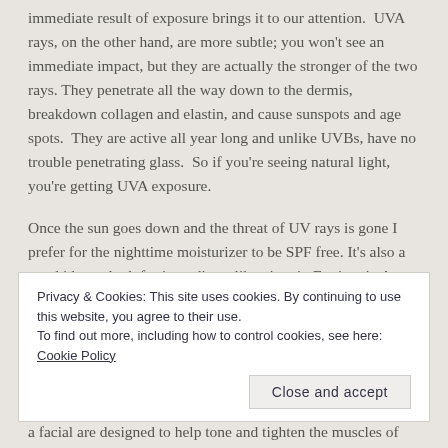immediate result of exposure brings it to our attention.  UVA rays, on the other hand, are more subtle; you won't see an immediate impact, but they are actually the stronger of the two rays. They penetrate all the way down to the dermis, breakdown collagen and elastin, and cause sunspots and age spots.  They are active all year long and unlike UVBs, have no trouble penetrating glass.  So if you're seeing natural light, you're getting UVA exposure.
Once the sun goes down and the threat of UV rays is gone I prefer for the nighttime moisturizer to be SPF free. It's also a good idea to look for ingredients like vitamin E, vitamin A, and vitamin A derivatives like retinol in your night cream.  You go into a natural resting and restorative phase when you sleep so it's a good idea to have ingredients that support that process.
Privacy & Cookies: This site uses cookies. By continuing to use this website, you agree to their use.
To find out more, including how to control cookies, see here: Cookie Policy
Close and accept
a facial are designed to help tone and tighten the muscles of the face,